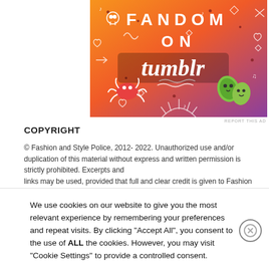[Figure (illustration): Tumblr 'Fandom On Tumblr' promotional banner with orange-to-purple gradient background, white doodle icons, text 'FANDOM ON tumblr' in bold letters, cartoon spider and leaf characters]
REPORT THIS AD
COPYRIGHT
© Fashion and Style Police, 2012- 2022. Unauthorized use and/or duplication of this material without express and written permission is strictly prohibited. Excerpts and links may be used, provided that full and clear credit is given to Fashion and Style
We use cookies on our website to give you the most relevant experience by remembering your preferences and repeat visits. By clicking "Accept All", you consent to the use of ALL the cookies. However, you may visit "Cookie Settings" to provide a controlled consent.
Advertisements
REPORT THIS AD